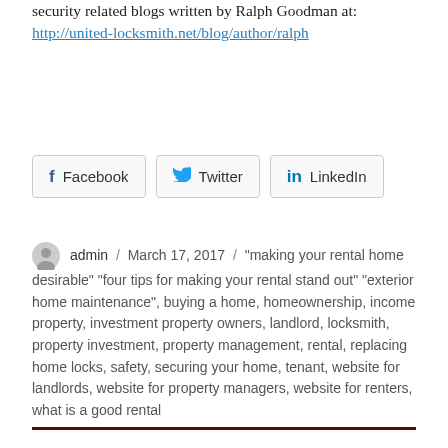security related blogs written by Ralph Goodman at:  http://united-locksmith.net/blog/author/ralph
[Figure (other): Social sharing buttons for Facebook, Twitter, and LinkedIn]
admin / March 17, 2017 / "making your rental home desirable" "four tips for making your rental stand out" "exterior home maintenance", buying a home, homeownership, income property, investment property owners, landlord, locksmith, property investment, property management, rental, replacing home locks, safety, securing your home, tenant, website for landlords, website for property managers, website for renters, what is a good rental